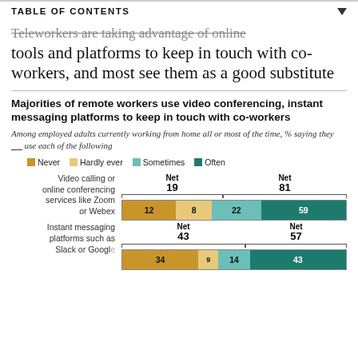TABLE OF CONTENTS
Teleworkers are taking advantage of online tools and platforms to keep in touch with co-workers, and most see them as a good substitute
Majorities of remote workers use video conferencing, instant messaging platforms to keep in touch with co-workers
Among employed adults currently working from home all or most of the time, % saying they ___ use each of the following
[Figure (stacked-bar-chart): Majorities of remote workers use video conferencing, instant messaging platforms to keep in touch with co-workers]